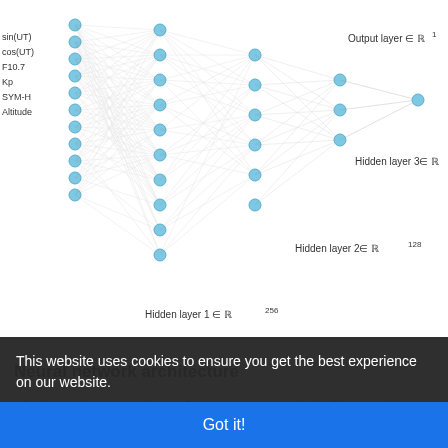[Figure (other): Neural network architecture diagram showing input layer with labels (sin(UT), cos(UT), F10.7, Kp, SYM-H, Altitude), three hidden layers (Hidden layer 1 in R^256, Hidden layer 2 in R^128, Hidden layer 3 in R^64), and output layer in R^1. Nodes shown as blue circles connected by grey lines.]
Neural network architecture
The input layer consists of 14 parameters, including position, local time, season and indices of solar and geomagnetic activity. The network has 3 hidden layers with 256, 128 and 64 neurons, respectively. Output is the normalized electron density
This website uses cookies to ensure you get the best experience on our website.
Got it!